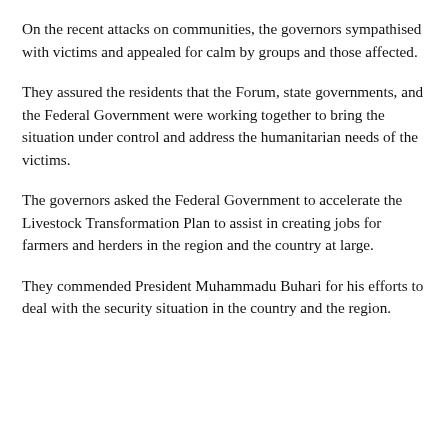On the recent attacks on communities, the governors sympathised with victims and appealed for calm by groups and those affected.
They assured the residents that the Forum, state governments, and the Federal Government were working together to bring the situation under control and address the humanitarian needs of the victims.
The governors asked the Federal Government to accelerate the Livestock Transformation Plan to assist in creating jobs for farmers and herders in the region and the country at large.
They commended President Muhammadu Buhari for his efforts to deal with the security situation in the country and the region.